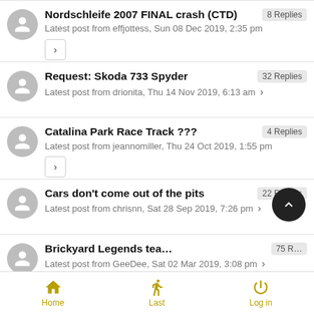Nordschleife 2007 FINAL crash (CTD) — 8 Replies — Latest post from effjottess, Sun 08 Dec 2019, 2:35 pm
Request: Skoda 733 Spyder — 32 Replies — Latest post from drionita, Thu 14 Nov 2019, 6:13 am
Catalina Park Race Track ??? — 4 Replies — Latest post from jeannomiller, Thu 24 Oct 2019, 1:55 pm
Cars don't come out of the pits — 22 Replies — Latest post from chrisnn, Sat 28 Sep 2019, 7:26 pm
Brickyard Legends team homepage dow… — 75 R… — Latest post from GeeDee, Sat 02 Mar 2019, 3:08 pm
Home | Last | Log in